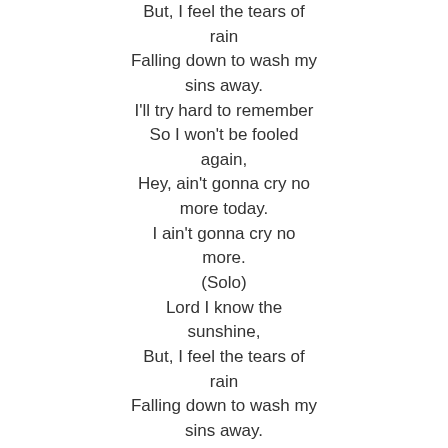But, I feel the tears of rain
Falling down to wash my sins away.
I'll try hard to remember
So I won't be fooled again,
Hey, ain't gonna cry no more today.
I ain't gonna cry no more.
(Solo)
Lord I know the sunshine,
But, I feel the tears of rain
Falling down to wash my sins away.
I'll try hard to remember
So I won't be fooled again,
Hey, ain't gonna cry no more today.